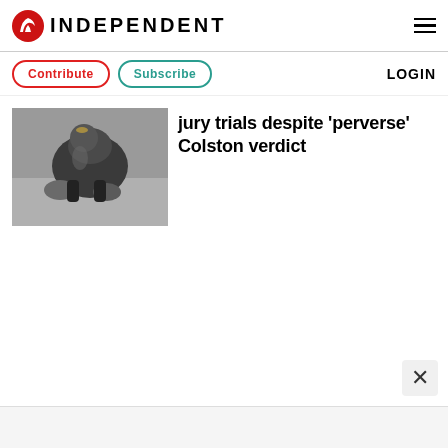INDEPENDENT
Contribute   Subscribe   LOGIN
[Figure (photo): Black and white photo of a person appearing distressed or hunched over, with objects on the ground nearby]
jury trials despite 'perverse' Colston verdict